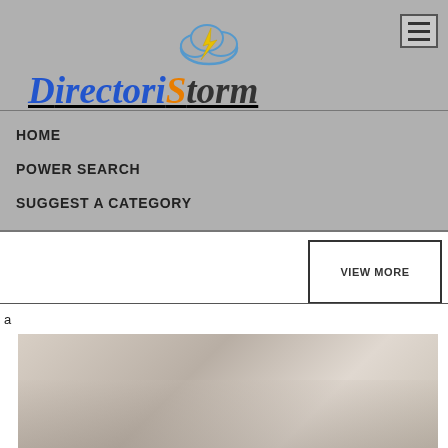[Figure (logo): DirectoriStorm logo with cloud and lightning bolt icon. 'Directori' in blue italic bold underlined, 'S' in orange, 'torm' in dark gray. Cloud with lightning bolt above the S.]
[Figure (other): Hamburger menu button (three horizontal lines) in top right corner]
HOME
POWER SEARCH
SUGGEST A CATEGORY
REGISTRATION
VIEW MORE
a
[Figure (photo): Partial photo of a desk or office scene, cropped at bottom of page]